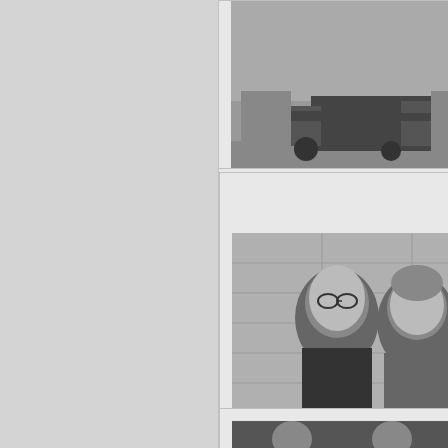[Figure (photo): Black and white historical photo showing horses, carriages on a street]
FILE_010930_Duke_PD_0...jpg
History of Canada : The Duke and Duchess of...
[Figure (photo): Black and white photo of two men in conversation, one bald with glasses]
File_840109_LE VESQUE...jpg
January 9, 1984 File Photo - Jean Drapeau,...
[Figure (photo): Black and white photo partially visible at bottom of page]